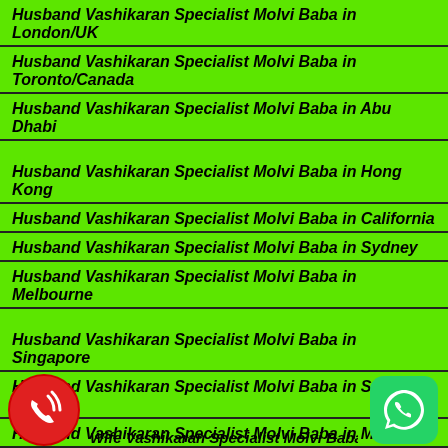Husband Vashikaran Specialist Molvi Baba in London/UK
Husband Vashikaran Specialist Molvi Baba in Toronto/Canada
Husband Vashikaran Specialist Molvi Baba in Abu Dhabi
Husband Vashikaran Specialist Molvi Baba in Hong Kong
Husband Vashikaran Specialist Molvi Baba in California
Husband Vashikaran Specialist Molvi Baba in Sydney
Husband Vashikaran Specialist Molvi Baba in Melbourne
Husband Vashikaran Specialist Molvi Baba in Singapore
Husband Vashikaran Specialist Molvi Baba in Saudi Arabia
Husband Vashikaran Specialist Molvi Baba in Malaysia
Husband Vashikaran Specialist Molvi Baba in Cape Town/South Africa
Wife Vashikaran Specialist Molvi Baba in London/UK
[Figure (illustration): Red phone call icon (circular red background with white phone handset and signal waves)]
[Figure (illustration): WhatsApp icon (dark green rounded square with white WhatsApp logo)]